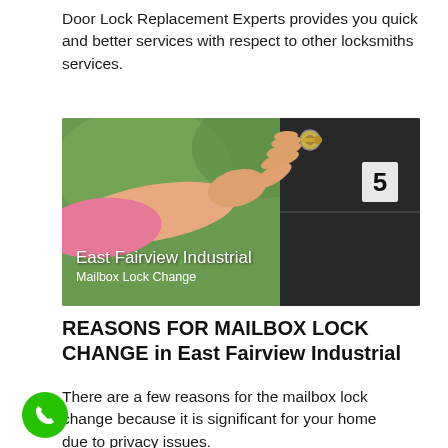Door Lock Replacement Experts provides you quick and better services with respect to other locksmiths services.
[Figure (photo): A hand inserting or turning a key into a mailbox lock on a dark green/black metal mailbox panel with a number 5 label. Text overlay reads 'East Fairview Industrial / Mailbox Lock Change'.]
REASONS FOR MAILBOX LOCK CHANGE in East Fairview Industrial
There are a few reasons for the mailbox lock change because it is significant for your home due to privacy issues.